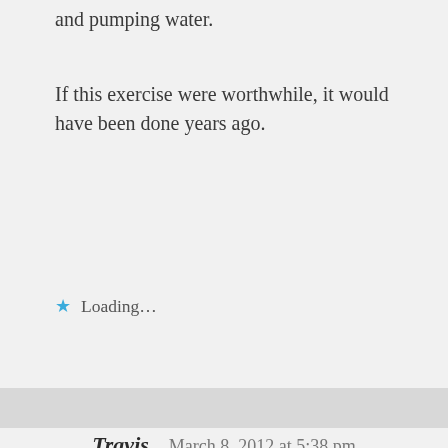and pumping water.
If this exercise were worthwhile, it would have been done years ago.
Loading…
Travis    March 8, 2012 at 5:38 pm
Interesting mistake on the “2.2% tax credit.” From a policy perspective, I’ve often wondered if changing the subsidy from a flat $/kWh amount to a percentage of the price would fix negative prices and align incentives. Kind of like using a negative income tax rather than fixed forms of welfare. Wind or other